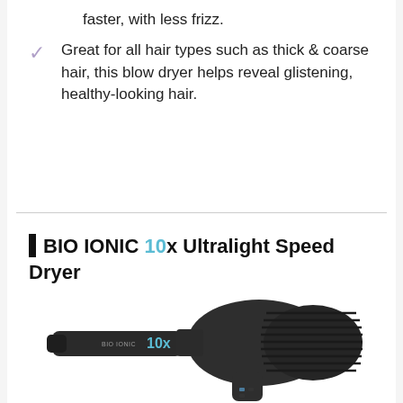faster, with less frizz.
Great for all hair types such as thick & coarse hair, this blow dryer helps reveal glistening, healthy-looking hair.
BIO IONIC 10x Ultralight Speed Dryer
[Figure (photo): BIO IONIC 10x Ultralight Speed Dryer - a dark matte black hair dryer with the BIO IONIC 10x branding on the barrel, showing the nozzle/barrel on the left and the fan/motor housing on the right with a handle at the bottom.]